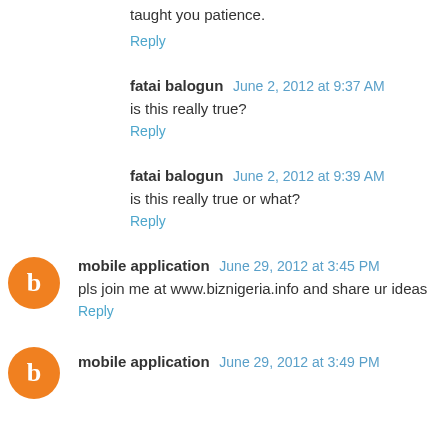taught you patience.
Reply
fatai balogun  June 2, 2012 at 9:37 AM
is this really true?
Reply
fatai balogun  June 2, 2012 at 9:39 AM
is this really true or what?
Reply
mobile application  June 29, 2012 at 3:45 PM
pls join me at www.biznigeria.info and share ur ideas
Reply
mobile application  June 29, 2012 at 3:49 PM